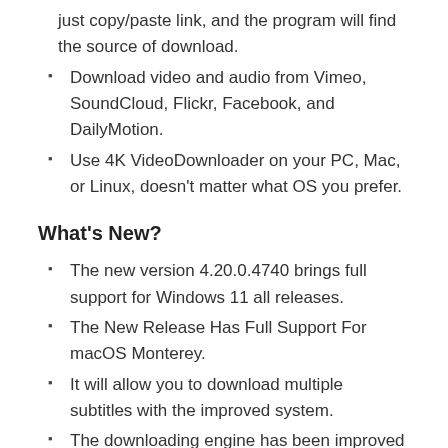just copy/paste link, and the program will find the source of download.
Download video and audio from Vimeo, SoundCloud, Flickr, Facebook, and DailyMotion.
Use 4K VideoDownloader on your PC, Mac, or Linux, doesn’t matter what OS you prefer.
What’s New?
The new version 4.20.0.4740 brings full support for Windows 11 all releases.
The New Release Has Full Support For macOS Monterey.
It will allow you to download multiple subtitles with the improved system.
The downloading engine has been improved
Some errors have been fixed.
It includes a bandwidth limit for a slow internet connection.